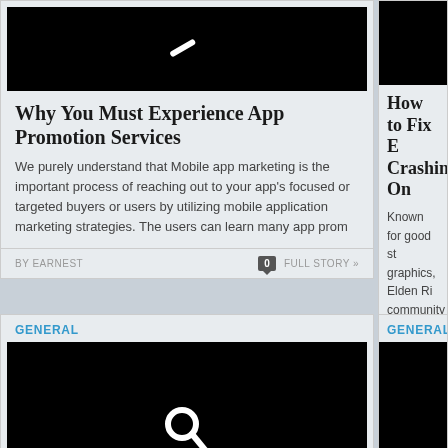[Figure (screenshot): Top-left article card with black image area showing pencil icon, article title, excerpt text, author byline, comment count badge, and full story link]
Why You Must Experience App Promotion Services
We purely understand that Mobile app marketing is the important process of reaching out to your app's focused or targeted buyers or users by utilizing mobile application marketing strategies. The users can learn many app prom
BY EARNEST
FULL STORY »
[Figure (screenshot): Top-right article card (partially visible) with black image area, partial title 'How to Fix E Crashing On', partial text about Elden Ring graphics and community, author byline BY EARNEST]
How to Fix E Crashing On
Known for good st graphics, Elden Ri community by stor vast popularity, so Ring because the
BY EARNEST
[Figure (screenshot): Bottom-left article card with GENERAL category label and black image area showing search/magnifying glass icon]
GENERAL
[Figure (screenshot): Bottom-right article card (partially visible) with GENERAL category label and black image area]
GENERAL